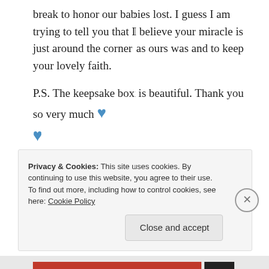break to honor our babies lost. I guess I am trying to tell you that I believe your miracle is just around the corner as ours was and to keep your lovely faith.
P.S. The keepsake box is beautiful. Thank you so very much 💙
★ Like
Reply
Privacy & Cookies: This site uses cookies. By continuing to use this website, you agree to their use. To find out more, including how to control cookies, see here: Cookie Policy
Close and accept